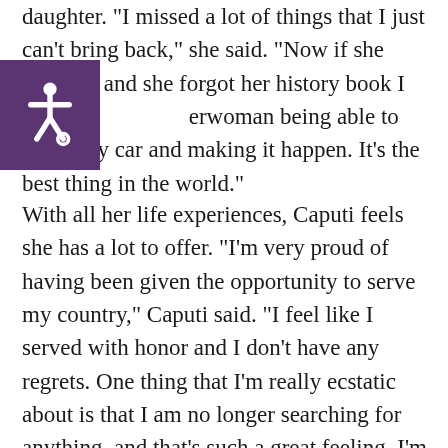daughter. “I missed a lot of things that I just can’t bring back,” she said. “Now if she calls me and she forgot her history book I feel like Superwoman being able to get in my car and making it happen. It’s the best thing in the world.”
With all her life experiences, Caputi feels she has a lot to offer. “I’m very proud of having been given the opportunity to serve my country,” Caputi said. “I feel like I served with honor and I don’t have any regrets. One thing that I’m really ecstatic about is that I am no longer searching for anything, and that’s such a great feeling. I’m just really open. I honestly believe that I am the luckiest person in the world.”